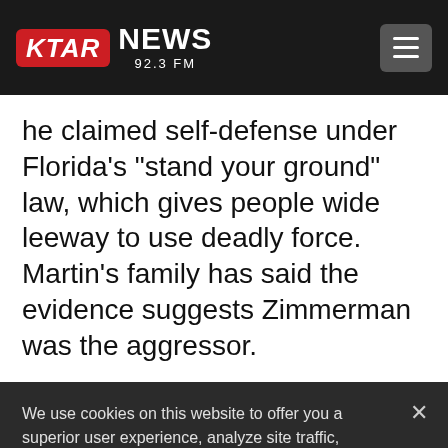[Figure (logo): KTAR NEWS 92.3 FM logo with red badge and hamburger menu button on dark header bar]
he claimed self-defense under Florida’s “stand your ground” law, which gives people wide leeway to use deadly force. Martin’s family has said the evidence suggests Zimmerman was the aggressor.
We use cookies on this website to offer you a superior user experience, analyze site traffic, and personalize content and advertisements. By continuing to use our site, you consent to our use of cookies. Please visit our Privacy Policy for more information.
Accept Cookies